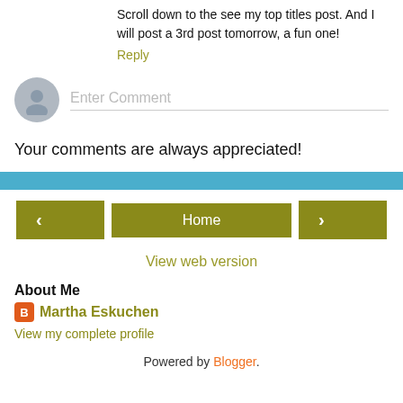Scroll down to the see my top titles post. And I will post a 3rd post tomorrow, a fun one!
Reply
[Figure (other): Comment input box with user avatar circle and 'Enter Comment' placeholder text]
Your comments are always appreciated!
[Figure (other): Blue horizontal bar divider]
[Figure (other): Navigation bar with left arrow button, Home button, and right arrow button]
View web version
About Me
Martha Eskuchen
View my complete profile
Powered by Blogger.